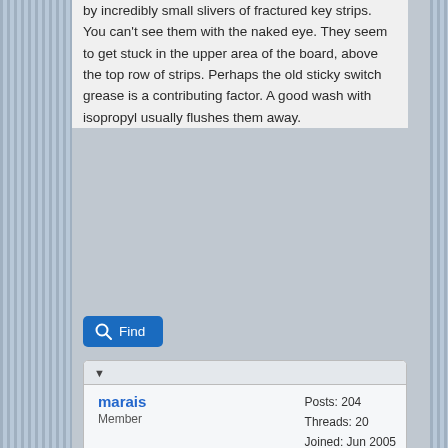by incredibly small slivers of fractured key strips. You can't see them with the naked eye. They seem to get stuck in the upper area of the board, above the top row of strips. Perhaps the old sticky switch grease is a contributing factor. A good wash with isopropyl usually flushes them away.
Find
marais
Member
Posts: 204
Threads: 20
Joined: Jun 2005
12-15-2004, 07:57 AM
#20
Gentlemen and fellow collectors, I am pleased to announce that through your expert advice I was able to repair my 67. The problem was indeed due to a battery contact shorting a trace on the keyboard/display pcb. Once I realized